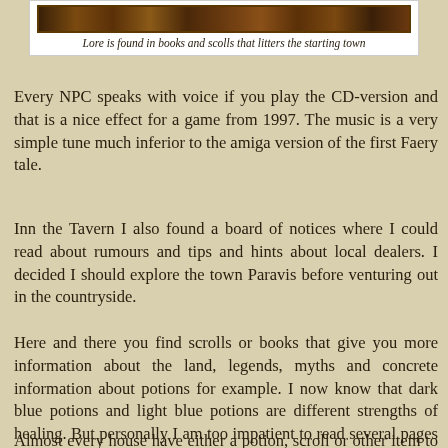[Figure (screenshot): A decorative game screenshot or banner image with dark reddish-brown ornate styling]
Lore is found in books and scolls that litters the starting town
Every NPC speaks with voice if you play the CD-version and that is a nice effect for a game from 1997. The music is a very simple tune much inferior to the amiga version of the first Faery tale.
Inn the Tavern I also found a board of notices where I could read about rumours and tips and hints about local dealers. I decided I should explore the town Paravis before venturing out in the countryside.
Here and there you find scrolls or books that give you more information about the land, legends, myths and concrete information about potions for example. I now know that dark blue potions and light blue potions are different strengths of healing. But personally I am too impatient to read several pages of information about legends. I never do that in Morrowind, Oblivion or Skyrim either.
Almost every house have either a potion, scroll or other item to take and there is no risk with burglary or stealing, even if it